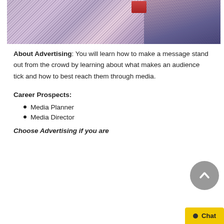[Figure (photo): Close-up photo of colorful electronic components or cables with purple and striped overlay tones]
About Advertising: You will learn how to make a message stand out from the crowd by learning about what makes an audience tick and how to best reach them through media.
Career Prospects:
Media Planner
Media Director
Choose Advertising if you are